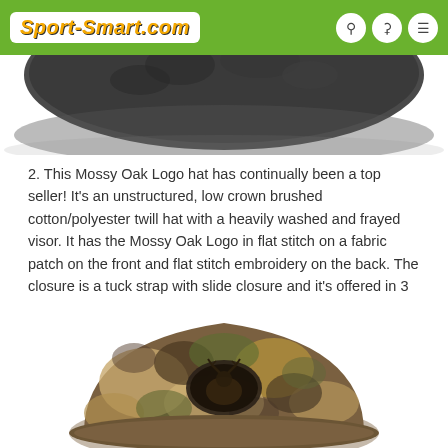Sport-Smart.com
[Figure (photo): Partial view of a camouflage hat brim from above, dark/grey tones, cut off at top of frame]
2. This Mossy Oak Logo hat has continually been a top seller! It's an unstructured, low crown brushed cotton/polyester twill hat with a heavily washed and frayed visor. It has the Mossy Oak Logo in flat stitch on a fabric patch on the front and flat stitch embroidery on the back. The closure is a tuck strap with slide closure and it's offered in 3 patterns...Mossy Oak Break-Up Country, Mossy Oak Original Bottomland and Mossy Oak Shadow Grass Blades Ducks Unlimited Edition.
[Figure (photo): Camouflage hat with Mossy Oak pattern (brown, tan, green leaves) with an oval logo patch on the front featuring a deer/duck silhouette, partially cropped at bottom]